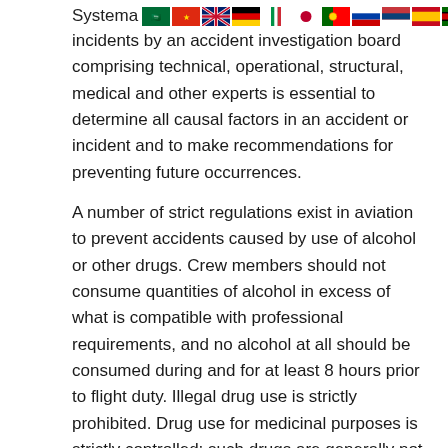Systema... [flags row]
incidents by an accident investigation board comprising technical, operational, structural, medical and other experts is essential to determine all causal factors in an accident or incident and to make recommendations for preventing future occurrences.
A number of strict regulations exist in aviation to prevent accidents caused by use of alcohol or other drugs. Crew members should not consume quantities of alcohol in excess of what is compatible with professional requirements, and no alcohol at all should be consumed during and for at least 8 hours prior to flight duty. Illegal drug use is strictly prohibited. Drug use for medicinal purposes is strictly controlled; such drugs are generally not allowed during or immediately preceding flight, although exceptions may be allowed by a recognized flight physician.
The transport of hazardous materials by air is yet another cause of aircraft accident and incidents. A recent survey